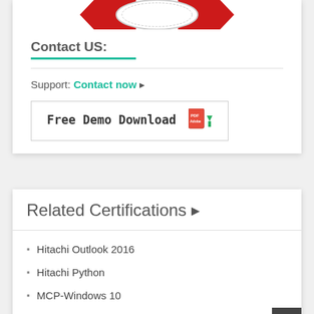[Figure (illustration): Badge/ribbon logo partially visible at top of card]
Contact US:
Support: Contact now 🔗
[Figure (illustration): Free Demo Download button with PDF icon and green download arrow]
Related Certifications 🔗
Hitachi Outlook 2016
Hitachi Python
MCP-Windows 10
Dynamics C6